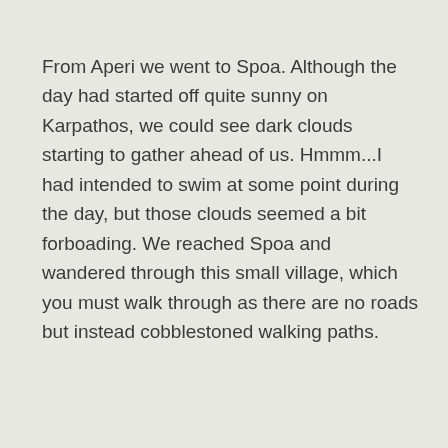From Aperi we went to Spoa. Although the day had started off quite sunny on Karpathos, we could see dark clouds starting to gather ahead of us. Hmmm...I had intended to swim at some point during the day, but those clouds seemed a bit forboading. We reached Spoa and wandered through this small village, which you must walk through as there are no roads but instead cobblestoned walking paths.